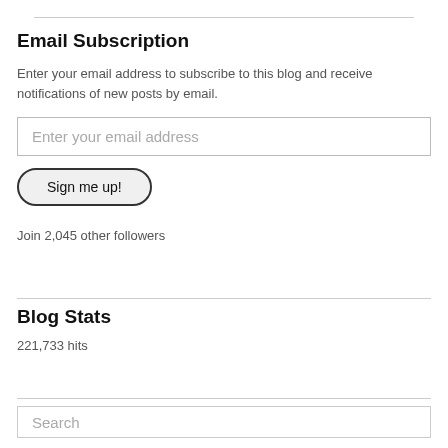Email Subscription
Enter your email address to subscribe to this blog and receive notifications of new posts by email.
Enter your email address
Sign me up!
Join 2,045 other followers
Blog Stats
221,733 hits
Search